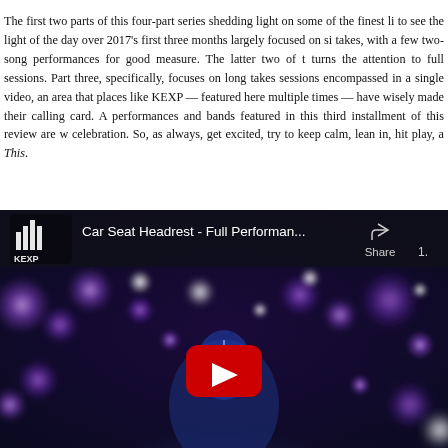The first two parts of this four-part series shedding light on some of the finest li to see the light of the day over 2017's first three months largely focused on si takes, with a few two-song performances for good measure. The latter two of t turns the attention to full sessions. Part three, specifically, focuses on long takes sessions encompassed in a single video, an area that places like KEXP — featured here multiple times — have wisely made their calling card. A performances and bands featured in this third installment of this review are w celebration. So, as always, get excited, try to keep calm, lean in, hit play, a This.
[Figure (screenshot): YouTube video thumbnail showing Car Seat Headrest - Full Performan... with KEXP logo on left, share button and view count on right, performer lit with blue/purple stage lights with bokeh circles in background, red YouTube play button in center.]